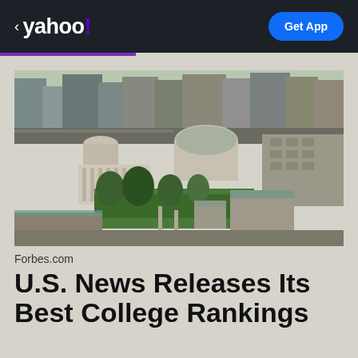yahoo! Get App
[Figure (photo): Aerial view of MIT campus showing the Great Dome and surrounding buildings with green lawn areas]
Forbes.com
U.S. News Releases Its Best College Rankings